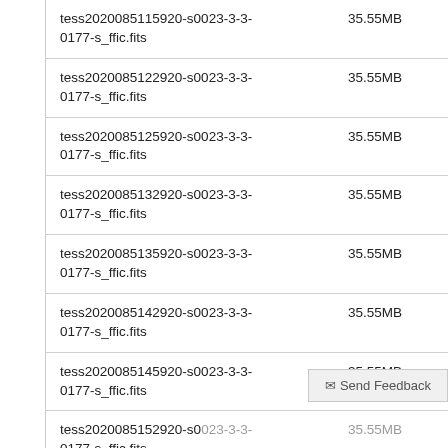| Filename | Size |
| --- | --- |
| tess2020085115920-s0023-3-3-0177-s_ffic.fits | 35.55MB |
| tess2020085122920-s0023-3-3-0177-s_ffic.fits | 35.55MB |
| tess2020085125920-s0023-3-3-0177-s_ffic.fits | 35.55MB |
| tess2020085132920-s0023-3-3-0177-s_ffic.fits | 35.55MB |
| tess2020085135920-s0023-3-3-0177-s_ffic.fits | 35.55MB |
| tess2020085142920-s0023-3-3-0177-s_ffic.fits | 35.55MB |
| tess2020085145920-s0023-3-3-0177-s_ffic.fits | 35.55MB |
| tess2020085152920-s0023-3-3-0177-s_ffic.fits | 35.55MB |
| tess2020085155920-s0023-3-3-... | 35.55MB |